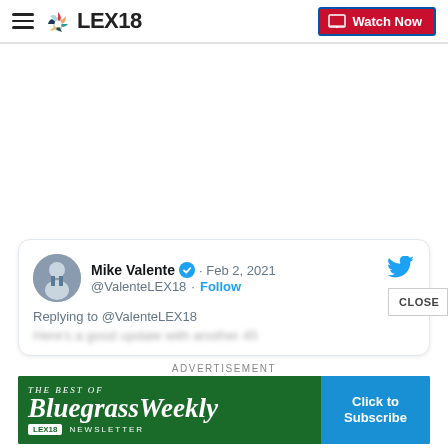LEX18 — Watch Now
[Figure (screenshot): Embedded tweet from Mike Valente (@ValenteLEX18), Feb 2, 2021, with verified badge, Follow link, replying to @ValenteLEX18, content partially blurred]
CLOSE
ADVERTISEMENT
[Figure (illustration): Bluegrass Weekly newsletter advertisement banner for LEX18, green background with italic serif text 'The Best Of BluegrassWeekly NEWSLETTER' and blue 'Click to Subscribe' button]